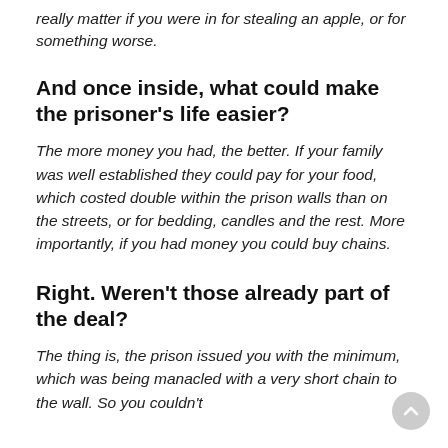really matter if you were in for stealing an apple, or for something worse.
And once inside, what could make the prisoner's life easier?
The more money you had, the better. If your family was well established they could pay for your food, which costed double within the prison walls than on the streets, or for bedding, candles and the rest. More importantly, if you had money you could buy chains.
Right. Weren't those already part of the deal?
The thing is, the prison issued you with the minimum, which was being manacled with a very short chain to the wall. So you couldn't